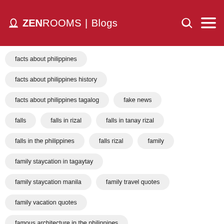ZEN ROOMS | Blogs
facts about philippines
facts about philippines history
facts about philippines tagalog
fake news
falls
falls in rizal
falls in tanay rizal
falls in the philippines
falls rizal
family
family staycation in tagaytay
family staycation manila
family travel quotes
family vacation quotes
famous architecture in the philippines